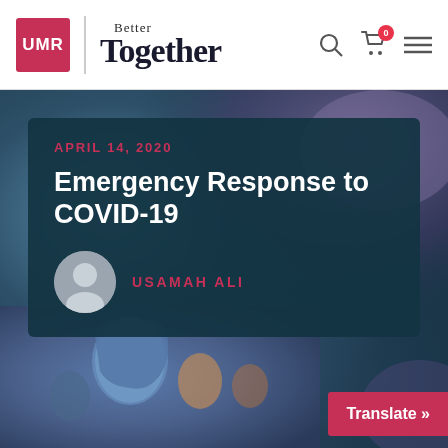UMR | Better Together
APRIL 14, 2020
Emergency Response to COVID-19
USAMAH ALI
[Figure (photo): Blurred background photo of people, with blurred bokeh effect in blues and purples]
[Figure (photo): Photo of women and children, one wearing a blue hijab, in a crowd]
Translate »